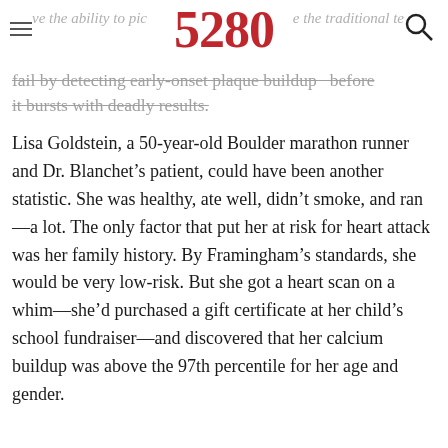5280
fail by detecting early-onset plaque buildup—before it bursts with deadly results.
Lisa Goldstein, a 50-year-old Boulder marathon runner and Dr. Blanchet's patient, could have been another statistic. She was healthy, ate well, didn't smoke, and ran—a lot. The only factor that put her at risk for heart attack was her family history. By Framingham's standards, she would be very low-risk. But she got a heart scan on a whim—she'd purchased a gift certificate at her child's school fundraiser—and discovered that her calcium buildup was above the 97th percentile for her age and gender.